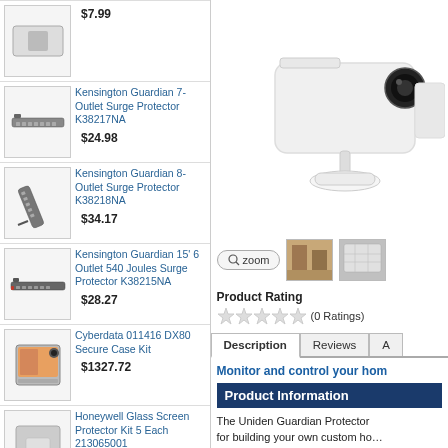$7.99 – (product above fold)
Kensington Guardian 7-Outlet Surge Protector K38217NA – $24.98
Kensington Guardian 8-Outlet Surge Protector K38218NA – $34.17
Kensington Guardian 15' 6 Outlet 540 Joules Surge Protector K38215NA – $28.27
Cyberdata 011416 DX80 Secure Case Kit – $1327.72
Honeywell Glass Screen Protector Kit 5 Each 213065001 – $40.16
Honeywell 9700/99EX-SCRPRO3 Screen Protector…
[Figure (photo): White home security camera on stand, shown on right side of page]
[Figure (photo): Zoom button and two small thumbnail images of product in different settings]
Product Rating
(0 Ratings)
Description | Reviews | A…
Monitor and control your hom…
Product Information
The Uniden Guardian Protector for building your own custom ho… window is opened, and automati… security footage. Even better, th…